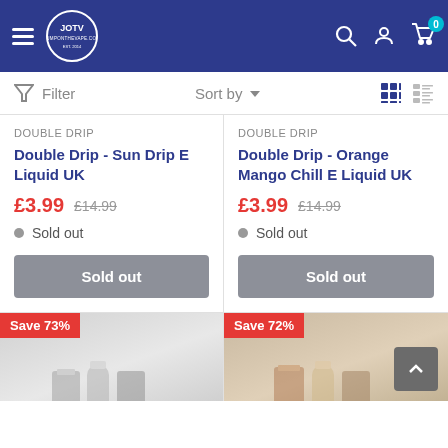[Figure (screenshot): JOTV / JumpOnTheVape.com website header with hamburger menu, logo, search, account and cart icons on dark blue background]
Filter   Sort by   (grid/list view icons)
DOUBLE DRIP
Double Drip - Sun Drip E Liquid UK
£3.99  £14.99
● Sold out
[Sold out button]
DOUBLE DRIP
Double Drip - Orange Mango Chill E Liquid UK
£3.99  £14.99
● Sold out
[Sold out button]
Save 73%
Save 72%